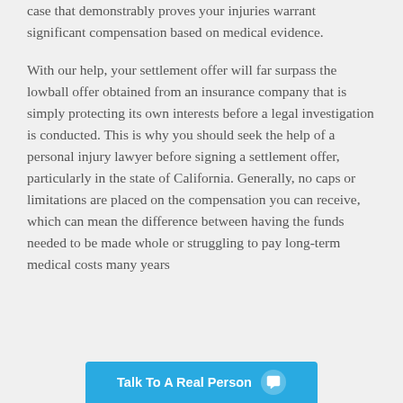case that demonstrably proves your injuries warrant significant compensation based on medical evidence.
With our help, your settlement offer will far surpass the lowball offer obtained from an insurance company that is simply protecting its own interests before a legal investigation is conducted. This is why you should seek the help of a personal injury lawyer before signing a settlement offer, particularly in the state of California. Generally, no caps or limitations are placed on the compensation you can receive, which can mean the difference between having the funds needed to be made whole or struggling to pay long-term medical costs many years
Talk To A Real Person